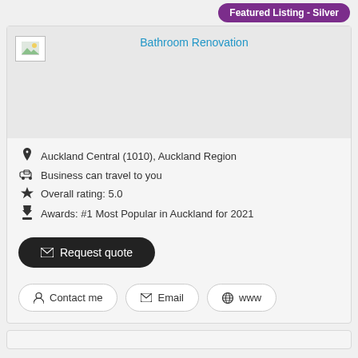Featured Listing - Silver
Bathroom Renovation
Auckland Central (1010), Auckland Region
Business can travel to you
Overall rating: 5.0
Awards: #1 Most Popular in Auckland for 2021
Request quote
Contact me
Email
www